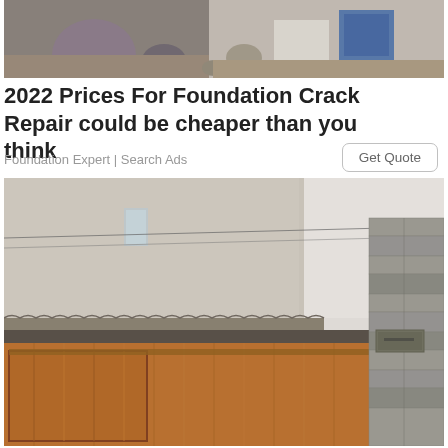[Figure (photo): Top banner photo showing construction/excavation site with rocks, debris, and a blue container]
2022 Prices For Foundation Crack Repair could be cheaper than you think
Foundation Expert | Search Ads
[Figure (photo): Photo of a wooden garage door/fence with sliding panel, stone/brick column on the right, and old European-style building with tile roof visible in the background]